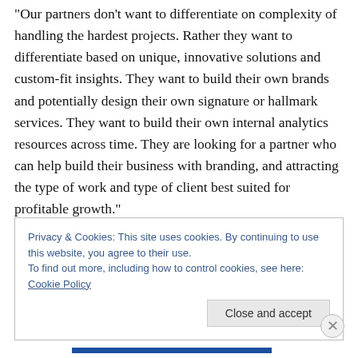“Our partners don’t want to differentiate on complexity of handling the hardest projects. Rather they want to differentiate based on unique, innovative solutions and custom-fit insights. They want to build their own brands and potentially design their own signature or hallmark services. They want to build their own internal analytics resources across time. They are looking for a partner who can help build their business with branding, and attracting the type of work and type of client best suited for profitable growth.”
Privacy & Cookies: This site uses cookies. By continuing to use this website, you agree to their use.
To find out more, including how to control cookies, see here: Cookie Policy